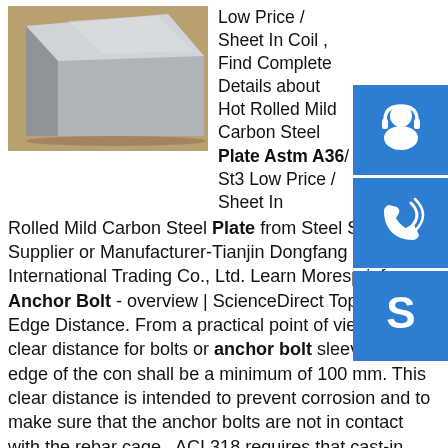[Figure (photo): Photo of a gray/silver metal steel plate or sheet, viewed at an angle on a wooden surface.]
Low Price / Sheet In Coil , Find Complete Details about Hot Rolled Mild Carbon Steel Plate Astm A36/ St3 Low Price / Sheet In Coil, Hot Rolled Mild Carbon Steel Plate from Steel Sheets Supplier or Manufacturer-Tianjin Dongfang Haoyu International Trading Co., Ltd. Learn Moresp.info Anchor Bolt - overview | ScienceDirect Topics5.8.5.1 Edge Distance. From a practical point of view, the clear distance for bolts or anchor bolt sleeves to the edge of the con shall be a minimum of 100 mm. This clear distance is intended to prevent corrosion and to make sure that the anchor bolts are not in contact with the rebar cage.. ACI 318 requires that cast-in headed fasteners, which will be torqued, have minimum edge ...sp.info Coremark Metals | Metals Hardware Fabrication | Buy Metal ...Online metals supplier for steel plate, tubing, pipe, sheet and more. Production Center locations in Minneapolis, and Fort